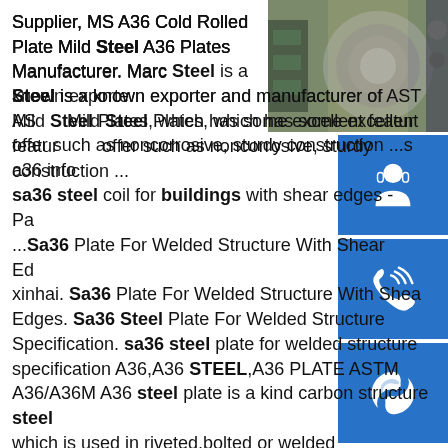[Figure (photo): Steel coil rolls photo in upper right]
[Figure (infographic): Blue sidebar with three icons: headset/customer service, phone, and Skype logo]
Supplier, MS A36 Cold Rolled Plate Mild Steel A36 Plates Manufacturer. Marc Steel is a known exporter and manufacturer of ASTM Mild Steel Plates, which has some excellent features to offer such as noncorrosive, sturdy construction ...sa36 steel coil for buildings with shear edges - Pa ...Sa36 Plate For Welded Structure With Shear Edges xinhai. Sa36 Plate For Welded Structure With Shear Edges. Sa36 Steel Plate For Welded Structure Specification. sa36 steel plate for welded structure specification A36,A36 STEEL,A36 PLATE ASTM A36/A36M A36 steel plate is a kind carbon structure steel which is used in riveted,bolted or welded construction of bridges and buildings,and for generalsp.info sa36 sheet for buildings weight - Pascale STEEL PLATE Chinasa36 sheet for bridge mechanical properties Carbon Steel C channels (standard) for general purposes are stocked as A36/SA36. These are also certified to the bridge.